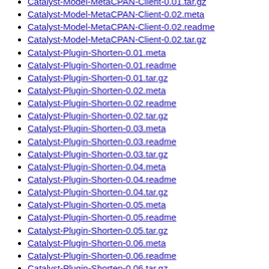Catalyst-Model-MetaCPAN-Client-0.01.tar.gz
Catalyst-Model-MetaCPAN-Client-0.02.meta
Catalyst-Model-MetaCPAN-Client-0.02.readme
Catalyst-Model-MetaCPAN-Client-0.02.tar.gz
Catalyst-Plugin-Shorten-0.01.meta
Catalyst-Plugin-Shorten-0.01.readme
Catalyst-Plugin-Shorten-0.01.tar.gz
Catalyst-Plugin-Shorten-0.02.meta
Catalyst-Plugin-Shorten-0.02.readme
Catalyst-Plugin-Shorten-0.02.tar.gz
Catalyst-Plugin-Shorten-0.03.meta
Catalyst-Plugin-Shorten-0.03.readme
Catalyst-Plugin-Shorten-0.03.tar.gz
Catalyst-Plugin-Shorten-0.04.meta
Catalyst-Plugin-Shorten-0.04.readme
Catalyst-Plugin-Shorten-0.04.tar.gz
Catalyst-Plugin-Shorten-0.05.meta
Catalyst-Plugin-Shorten-0.05.readme
Catalyst-Plugin-Shorten-0.05.tar.gz
Catalyst-Plugin-Shorten-0.06.meta
Catalyst-Plugin-Shorten-0.06.readme
Catalyst-Plugin-Shorten-0.06.tar.gz
Catalyst-Plugin-SocialMeta-0.01.meta
Catalyst-Plugin-SocialMeta-0.01.readme
Catalyst-Plugin-SocialMeta-0.01.tar.gz
Catalyst-Plugin-SocialMeta-0.02.meta